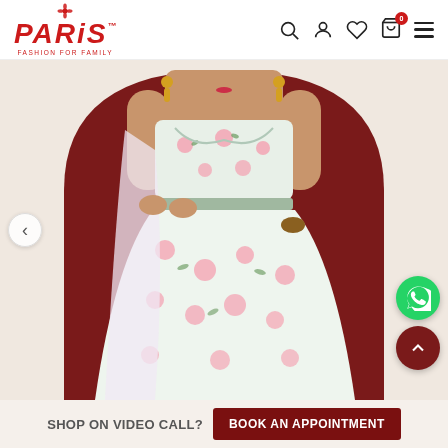PARIS Fashion for Family – navigation header with logo, search, account, wishlist, cart (0), and menu icons
[Figure (photo): A woman wearing a white floral lehenga with pink roses and green leaves, with a matching dupatta draped over one shoulder, gold earrings, and gold accessories. Shot against a deep maroon background with an arched backdrop.]
SHOP ON VIDEO CALL?
BOOK AN APPOINTMENT